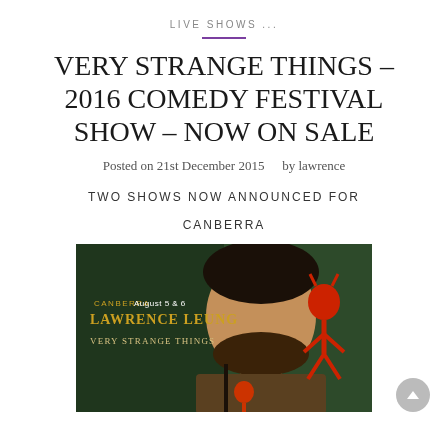LIVE SHOWS ...
VERY STRANGE THINGS – 2016 COMEDY FESTIVAL SHOW – NOW ON SALE
Posted on 21st December 2015   by lawrence
TWO SHOWS NOW ANNOUNCED FOR

CANBERRA
[Figure (photo): Promotional image for Lawrence Leung's 'Very Strange Things' show at Canberra August 5 & 6. Shows Lawrence Leung's face with a red imp/devil figure on a green background. Text reads: CANBERRA August 5 & 6 / LAWRENCE LEUNG / VERY STRANGE THINGS]